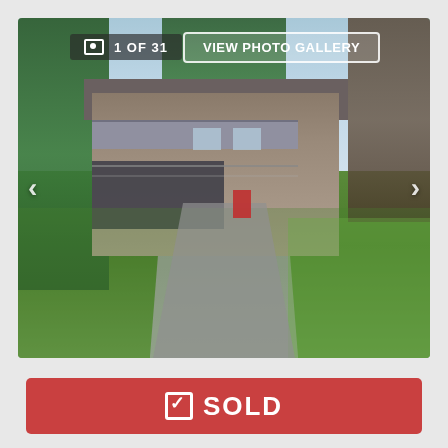[Figure (photo): Exterior photo of a two-story residential house with a large driveway, carport, balcony, green lawn, and trees. Photo gallery interface showing '1 OF 31' counter and 'VIEW PHOTO GALLERY' button, with left and right navigation arrows.]
SOLD